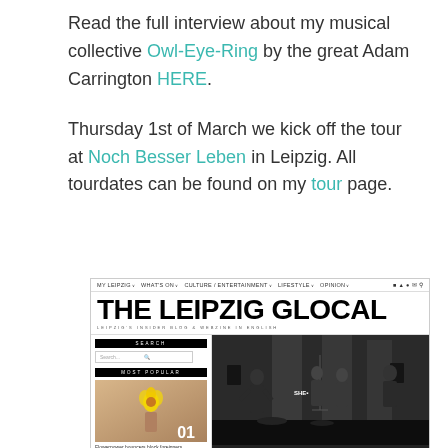Read the full interview about my musical collective Owl-Eye-Ring by the great Adam Carrington HERE.
Thursday 1st of March we kick off the tour at Noch Besser Leben in Leipzig. All tourdates can be found on my tour page.
[Figure (screenshot): Screenshot of The Leipzig Glocal website showing navigation bar, large site title 'THE LEIPZIG GLOCAL', tagline 'LEIPZIG'S INSIDER BLOG & WEBZINE IN ENGLISH', search box, Most Popular section with flower image numbered 01 with caption 'Flowerpower bouncers block foreigners', and a black-and-white band performance photo on the right side.]